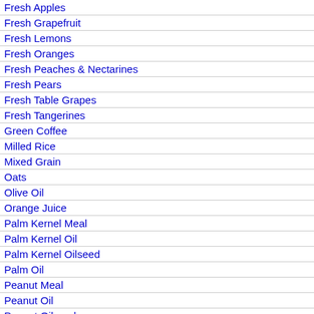Fresh Apples
Fresh Grapefruit
Fresh Lemons
Fresh Oranges
Fresh Peaches & Nectarines
Fresh Pears
Fresh Table Grapes
Fresh Tangerines
Green Coffee
Milled Rice
Mixed Grain
Oats
Olive Oil
Orange Juice
Palm Kernel Meal
Palm Kernel Oil
Palm Kernel Oilseed
Palm Oil
Peanut Meal
Peanut Oil
Peanut Oilseed
Rapeseed Meal
Rapeseed Oil
Rapeseed Oilseed
Rye
[Figure (continuous-plot): A line/bar chart showing data by year from 1975 to 2019, with year labels on x-axis rotated at angle, y-axis starts at 0. X-axis labeled 'Year'.]
Download to Excel (xls)
| Market Year | Total Distribution | Unit of Measure | Grow Ra... |
| --- | --- | --- | --- |
| 1975 | 1 | (1000 MT) |  |
| 1976 | 5 | (1000 MT) | 400.0 |
| 1977 | 11 | (1000 MT) | 120.0 |
| 1978 | 12 | (1000 MT) | 9.0 |
| 1979 | 12 | (1000 MT) | 0.0 |
| 1980 | 8 | (1000 MT) | -33.3 |
| 1981 | 6 | (1000 MT) | -25.0 |
| 1982 | 5 | (1000 MT) | -16.6 |